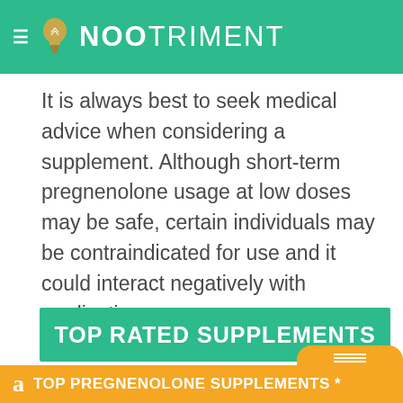NOOTRIMENT
It is always best to seek medical advice when considering a supplement. Although short-term pregnenolone usage at low doses may be safe, certain individuals may be contraindicated for use and it could interact negatively with medications.
TOP RATED SUPPLEMENTS
TOP PREGNENOLONE SUPPLEMENTS *